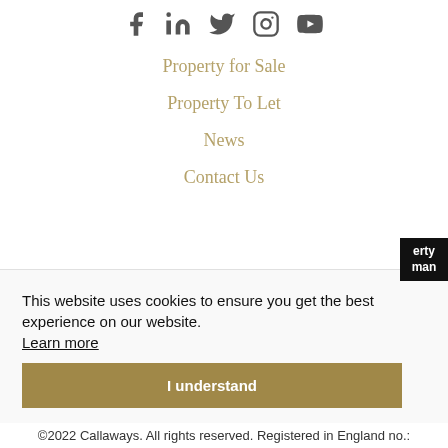[Figure (other): Social media icons row: Facebook, LinkedIn, Twitter, Instagram, YouTube]
Property for Sale
Property To Let
News
Contact Us
This website uses cookies to ensure you get the best experience on our website. Learn more
I understand
©2022 Callaways. All rights reserved. Registered in England no.: